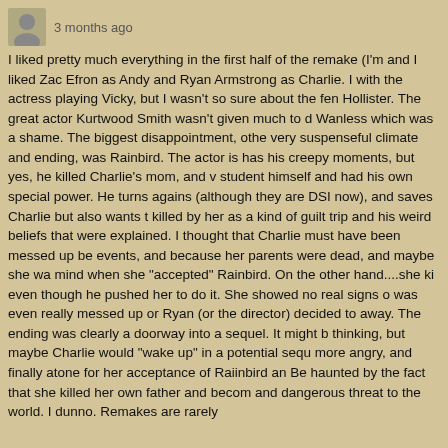3 months ago
I liked pretty much everything in the first half of the remake (I'm and I liked Zac Efron as Andy and Ryan Armstrong as Charlie. I with the actress playing Vicky, but I wasn't so sure about the fen Hollister. The great actor Kurtwood Smith wasn't given much to d Wanless which was a shame. The biggest disappointment, othe very suspenseful climate and ending, was Rainbird. The actor is has his creepy moments, but yes, he killed Charlie's mom, and v student himself and had his own special power. He turns agains (although they are DSI now), and saves Charlie but also wants t killed by her as a kind of guilt trip and his weird beliefs that were explained. I thought that Charlie must have been messed up be events, and because her parents were dead, and maybe she wa mind when she "accepted" Rainbird. On the other hand....she ki even though he pushed her to do it. She showed no real signs o was even really messed up or Ryan (or the director) decided to away. The ending was clearly a doorway into a sequel. It might b thinking, but maybe Charlie would "wake up" in a potential sequ more angry, and finally atone for her acceptance of Raiinbird an Be haunted by the fact that she killed her own father and becom and dangerous threat to the world. I dunno. Remakes are rarely